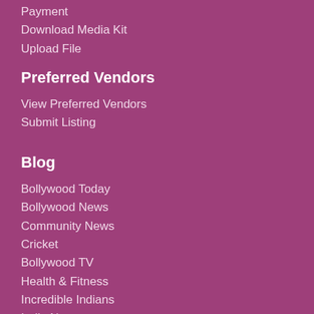Payment
Download Media Kit
Upload File
Preferred Vendors
View Preferred Vendors
Submit Listing
Blog
Bollywood Today
Bollywood News
Community News
Cricket
Bollywood TV
Health & Fitness
Incredible Indians
India News
NRI News
Religion
Sports